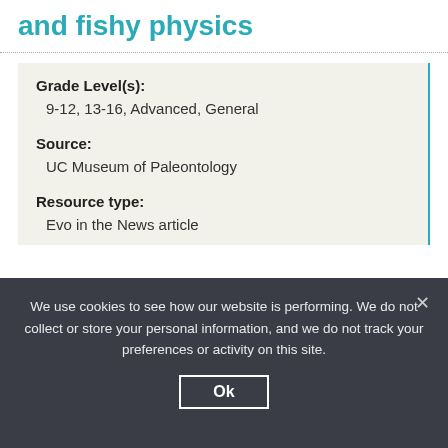and fishy physics
Grade Level(s):
9-12, 13-16, Advanced, General
Source:
UC Museum of Paleontology
Resource type:
Evo in the News article
We use cookies to see how our website is performing. We do not collect or store your personal information, and we do not track your preferences or activity on this site.
Ok